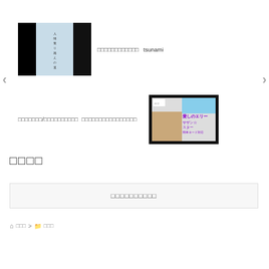[Figure (photo): Thumbnail image with black panels on left and right, and handwritten Japanese text in center on light blue background]
□□□□□□□□□□□□  tsunami
□□□□□□□/□□□□□□□□□□  □□□□□□□□□□□□□□□□
[Figure (screenshot): Video thumbnail showing a person with guitar, purple Japanese text overlay reading エリー, サザン, スター, and chord fingering info]
□□□□
□□□□□□□□□□
⌂ □□□ > ▢ □□